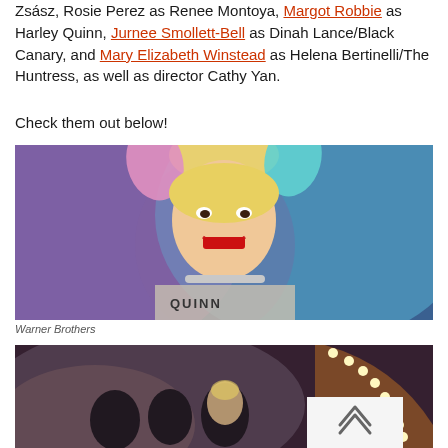Zsász, Rosie Perez as Renee Montoya, Margot Robbie as Harley Quinn, Jurnee Smollett-Bell as Dinah Lance/Black Canary, and Mary Elizabeth Winstead as Helena Bertinelli/The Huntress, as well as director Cathy Yan.
Check them out below!
[Figure (photo): Photo of Margot Robbie as Harley Quinn with colorful pink and blue smoky background, wearing a 'Harley Quinn' shirt and a sparkly necklace, smiling with red lipstick and pigtails.]
Warner Brothers
[Figure (photo): A group photo still from Birds of Prey movie showing characters including Harley Quinn with colorful carnival/fairground lights in the background.]